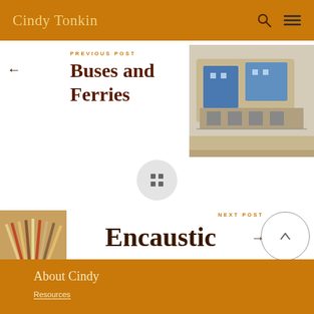Cindy Tonkin
PREVIOUS POST
Buses and Ferries
[Figure (photo): Photo of a mixed-media artwork depicting buses and ferries, cardboard and blue mechanical elements]
[Figure (other): Grid/menu icon in a light gray circle]
[Figure (photo): Photo of a folded book artwork with colorful pages fanned out]
NEXT POST
Encaustic
About Cindy